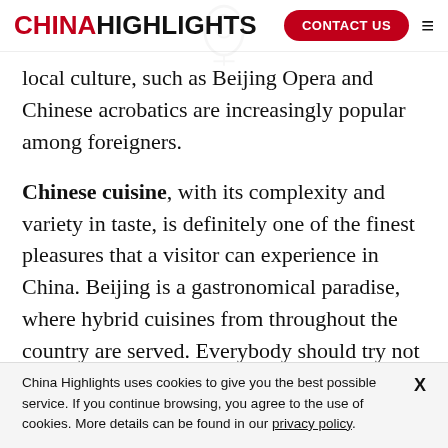CHINA HIGHLIGHTS | CONTACT US
local culture, such as Beijing Opera and Chinese acrobatics are increasingly popular among foreigners.
Chinese cuisine, with its complexity and variety in taste, is definitely one of the finest pleasures that a visitor can experience in China. Beijing is a gastronomical paradise, where hybrid cuisines from throughout the country are served. Everybody should try not to miss the chance to eat Peking Duck. Many restaurants serve this dish, but the best one is
China Highlights uses cookies to give you the best possible service. If you continue browsing, you agree to the use of cookies. More details can be found in our privacy policy.